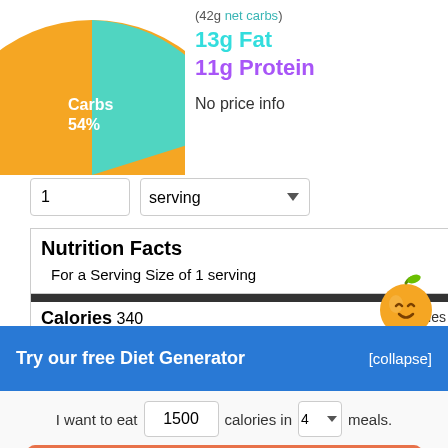[Figure (pie-chart): Macros]
(42g net carbs)
13g Fat
11g Protein
No price info
1
serving
| Nutrition Facts |
| For a Serving Size of 1 serving |
| Calories 340 | Calories from Fat 117 (34.4%) |
Try our free Diet Generator
[collapse]
I want to eat 1500 calories in 4 meals.
Generate